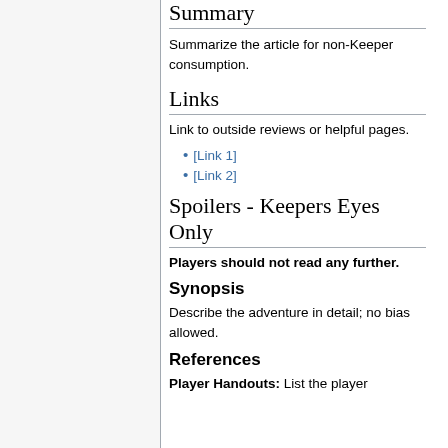Summary
Summarize the article for non-Keeper consumption.
Links
Link to outside reviews or helpful pages.
[Link 1]
[Link 2]
Spoilers - Keepers Eyes Only
Players should not read any further.
Synopsis
Describe the adventure in detail; no bias allowed.
References
Player Handouts: List the player